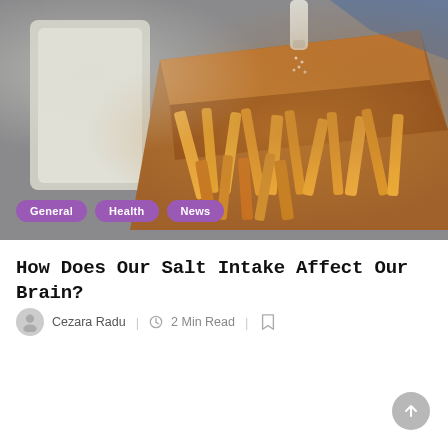[Figure (photo): Photo of french fries being salted in a cardboard box, with a drink cup visible on the left side]
How Does Our Salt Intake Affect Our Brain?
Cezara Radu | 2 Min Read |